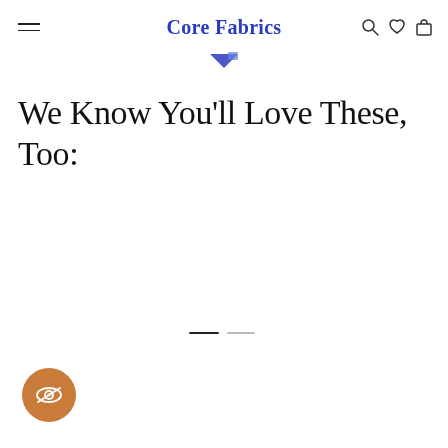Core Fabrics
[Figure (illustration): Blue triangular decorative arrow/chevron element below the header]
We Know You'll Love These, Too:
[Figure (other): Carousel pagination indicator with one dark active dash and one light inactive dash]
[Figure (other): Orange circular privacy/hide icon button with eye-slash symbol in bottom left corner]